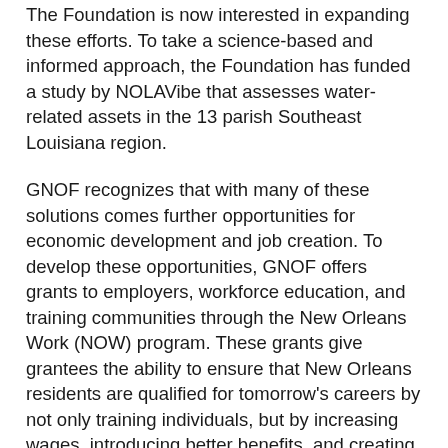The Foundation is now interested in expanding these efforts. To take a science-based and informed approach, the Foundation has funded a study by NOLAVibe that assesses water-related assets in the 13 parish Southeast Louisiana region.
GNOF recognizes that with many of these solutions comes further opportunities for economic development and job creation. To develop these opportunities, GNOF offers grants to employers, workforce education, and training communities through the New Orleans Work (NOW) program. These grants give grantees the ability to ensure that New Orleans residents are qualified for tomorrow's careers by not only training individuals, but by increasing wages, introducing better benefits, and creating career-pathways for the New Orleans workforce.
GNOF's Advocacy Forum and small grants for local advocates is another way that the Foundation supports local